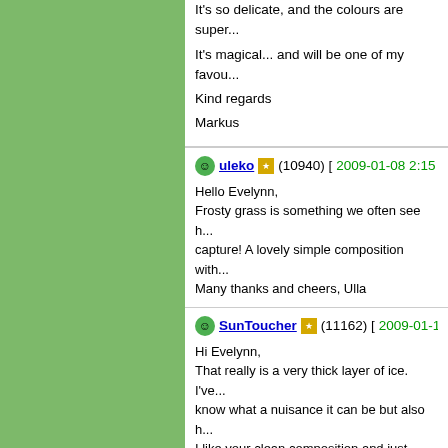It's so delicate, and the colours are super...
It's magical... and will be one of my favou...
Kind regards
Markus
uleko (10940) [2009-01-08 2:15]
Hello Evelynn,
Frosty grass is something we often see h... capture! A lovely simple composition with... Many thanks and cheers, Ulla
SunToucher (11162) [2009-01-13 10:0...]
Hi Evelynn,
That really is a very thick layer of ice. I've... know what a nuisance it can be but also h... I like your clean composition and just love...
TFS,
Niek
Cal...
[Figure (other): Gradient bar from black to light gray with numbers 0 1 2 3 4 5 below]
Copyright © 2018 MH Sub I, LLC dba Internet Bra... the Terms of Use. | Priv...